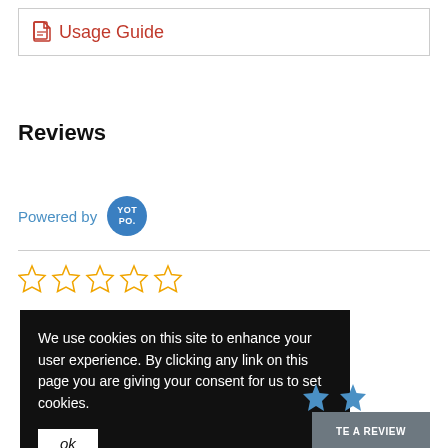Usage Guide
Reviews
Powered by YOTPO.
[Figure (other): Five empty star rating icons (outline only, gold/yellow color)]
We use cookies on this site to enhance your user experience. By clicking any link on this page you are giving your consent for us to set cookies.
ok
TE A REVIEW